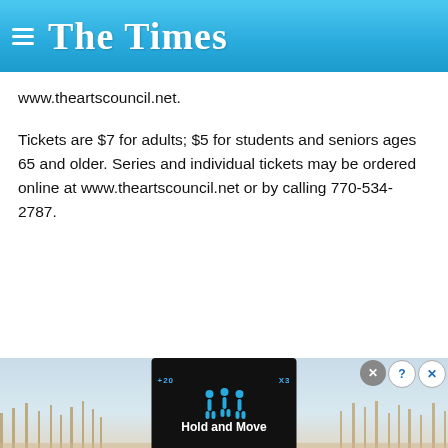The Times
www.theartscouncil.net.
Tickets are $7 for adults; $5 for students and seniors ages 65 and older. Series and individual tickets may be ordered online at www.theartscouncil.net or by calling 770-534-2787.
[Figure (screenshot): Advertisement banner at bottom showing a dark device screen with 'Hold and Move' text and blue figure icons, with trees and sky in background. Close and help buttons visible in top right corner.]